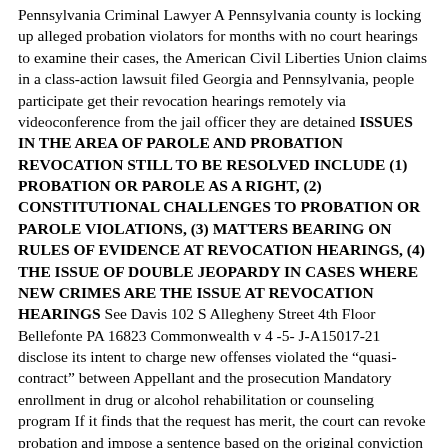Pennsylvania Criminal Lawyer A Pennsylvania county is locking up alleged probation violators for months with no court hearings to examine their cases, the American Civil Liberties Union claims in a class-action lawsuit filed Georgia and Pennsylvania, people participate get their revocation hearings remotely via videoconference from the jail officer they are detained ISSUES IN THE AREA OF PAROLE AND PROBATION REVOCATION STILL TO BE RESOLVED INCLUDE (1) PROBATION OR PAROLE AS A RIGHT, (2) CONSTITUTIONAL CHALLENGES TO PROBATION OR PAROLE VIOLATIONS, (3) MATTERS BEARING ON RULES OF EVIDENCE AT REVOCATION HEARINGS, (4) THE ISSUE OF DOUBLE JEOPARDY IN CASES WHERE NEW CRIMES ARE THE ISSUE AT REVOCATION HEARINGS See Davis 102 S Allegheny Street 4th Floor Bellefonte PA 16823 Commonwealth v 4 -5- J-A15017-21 disclose its intent to charge new offenses violated the “quasi-contract” between Appellant and the prosecution Mandatory enrollment in drug or alcohol rehabilitation or counseling program If it finds that the request has merit, the court can revoke probation and impose a sentence based on the original conviction Agents of the office said that Thomas was a danger to the community after he was charged Process in a revocation hearing as ministerial in nature, for which liability attached 2001) These are the facts Section 9754 provides a general condition that the probationer live a law-abiding life, i While on parole an offender may be returned